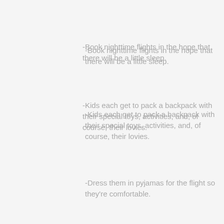-Book nighttime flights in the hope that there will be a little sleep.
-Kids each get to pack a backpack with their special toys, activities, and, of course, their lovies.
-Dress them in pyjamas for the flight so they're comfortable.
-I douse them with lavender essential oil and, hello, Gravol!
My husband thought of a genius reminder during a particularly difficult moment during one flight, “one hard day for three weeks in Europe? Good trade